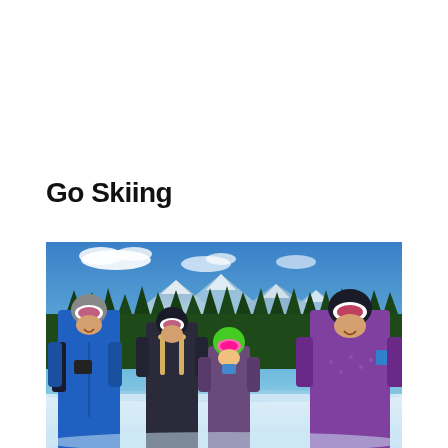Go Skiing
[Figure (photo): Four skiers (two adults and two children) posing together on a snowy mountain slope with ski helmets and goggles. Blue sky with clouds, snow-capped mountains and evergreen trees in the background. The adults wear a blue jacket and purple jacket respectively; children wear dark and green helmets.]